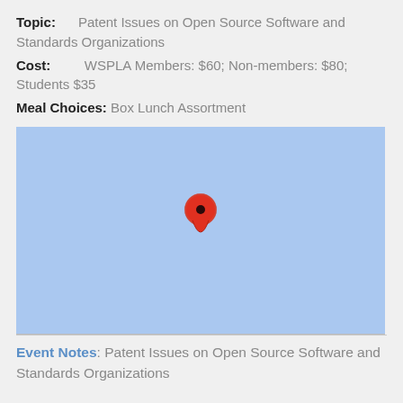Topic: Patent Issues on Open Source Software and Standards Organizations
Cost: WSPLA Members: $60; Non-members: $80; Students $35
Meal Choices: Box Lunch Assortment
[Figure (map): A light blue map with a red location pin marker centered slightly left of middle.]
Event Notes: Patent Issues on Open Source Software and Standards Organizations